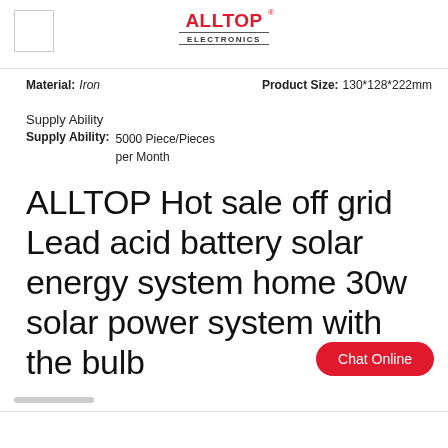[Figure (logo): ALLTOP Electronics logo in red and black with registered trademark symbol, and a small white square box on the left]
Material: Iron    Product Size: 130*128*222mm
Supply Ability
Supply Ability: 5000 Piece/Pieces per Month
ALLTOP Hot sale off grid Lead acid battery solar energy system home 30w solar power system with the bulb
Chat Online